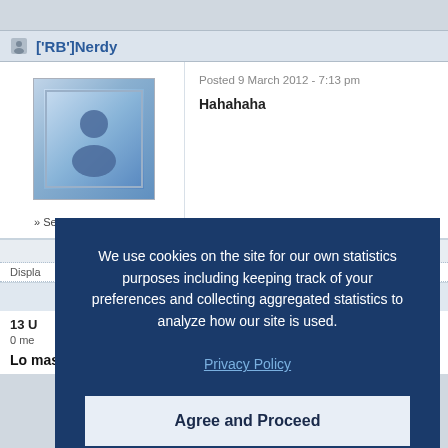['RB']Nerdy
[Figure (photo): User avatar placeholder image with blue gradient and person silhouette icon]
» Send Private Message
Posted 9 March 2012 - 7:13 pm
Hahahaha
Display
13 U
0 me
Lo mas popular ahora.
We use cookies on the site for our own statistics purposes including keeping track of your preferences and collecting aggregated statistics to analyze how our site is used.
Privacy Policy
Agree and Proceed